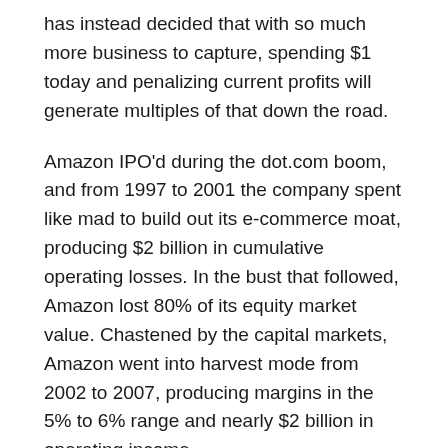has instead decided that with so much more business to capture, spending $1 today and penalizing current profits will generate multiples of that down the road.
Amazon IPO'd during the dot.com boom, and from 1997 to 2001 the company spent like mad to build out its e-commerce moat, producing $2 billion in cumulative operating losses. In the bust that followed, Amazon lost 80% of its equity market value. Chastened by the capital markets, Amazon went into harvest mode from 2002 to 2007, producing margins in the 5% to 6% range and nearly $2 billion in operating income.
E-commerce made 5% operating margins in 2009, and again in 2018 and 2019–but when the pandemic came, Amazon again went into investment mode. It doubled in 24 months the distribution infrastructure it had taken 24 years to build.